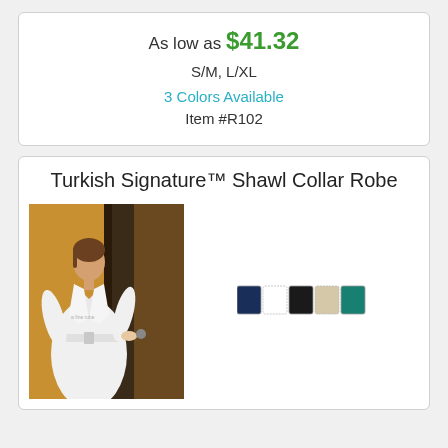As low as $41.32
S/M, L/XL
3 Colors Available
Item #R102
Turkish Signature™ Shawl Collar Robe
[Figure (photo): Woman wearing a white Turkish Signature Shawl Collar Robe, standing in a doorway against a warm background]
[Figure (other): Color swatches: navy blue, white, black, tan/cream, teal]